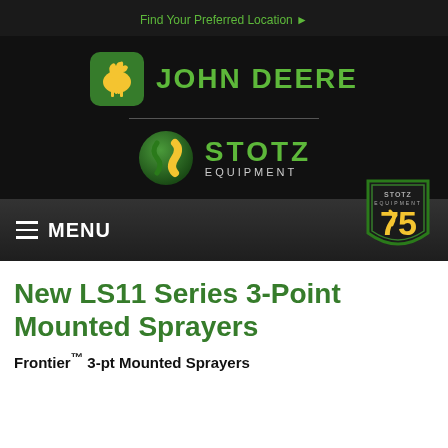Find Your Preferred Location ▶
[Figure (logo): John Deere logo with leaping deer icon and green 'JOHN DEERE' text on black background]
[Figure (logo): Stotz Equipment logo with green/gold sphere icon and 'STOTZ EQUIPMENT' text on black background]
[Figure (logo): Stotz Equipment 75th anniversary badge with green border, gold '75' numeral]
≡ MENU
New LS11 Series 3-Point Mounted Sprayers
Frontier™ 3-pt Mounted Sprayers